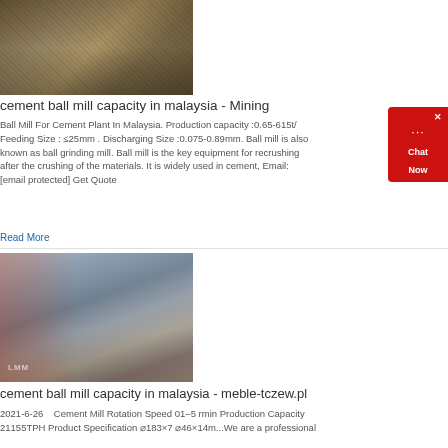[Figure (photo): Industrial mining or cement plant machinery with scaffolding and heavy equipment outdoors]
cement ball mill capacity in malaysia - Mining
Ball Mill For Cement Plant In Malaysia. Production capacity :0.65-615t/ Feeding Size : ≤25mm . Discharging Size :0.075-0.89mm. Ball mill is also known as ball grinding mill. Ball mill is the key equipment for recrushing after the crushing of the materials. It is widely used in cement, Email: [email protected] Get Quote
Read More
[Figure (photo): Industrial cement plant or mining facility with red hopper structure and blue conveyor belt, with watermark LMM]
cement ball mill capacity in malaysia - meble-tczew.pl
2021-6-26    Cement Mill Rotation Speed 01–5 rmin Production Capacity 21155TPH Product Specification ⌀183×7 ⌀46×14m...We are a professional